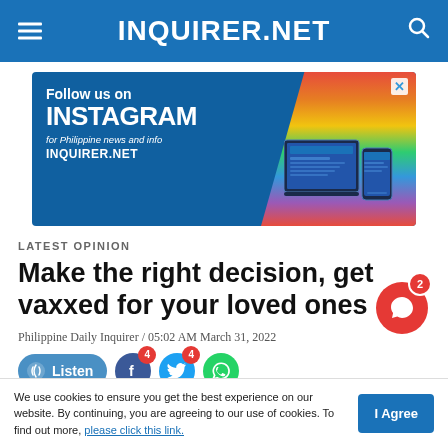INQUIRER.NET
[Figure (infographic): Advertisement banner: Follow us on INSTAGRAM for Philippine news and info INQUIRER.NET with rainbow gradient and device images]
LATEST OPINION
Make the right decision, get vaxxed for your loved ones
Philippine Daily Inquirer / 05:02 AM March 31, 2022
[Figure (infographic): Social sharing bar with Listen button, Facebook (4), Twitter (4), and WhatsApp buttons]
We use cookies to ensure you get the best experience on our website. By continuing, you are agreeing to our use of cookies. To find out more, please click this link.